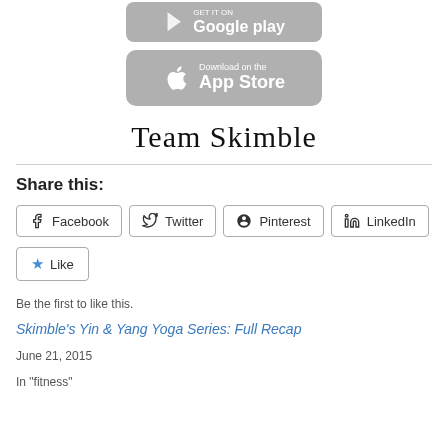[Figure (logo): Google Play store download button (grey rounded rectangle)]
[Figure (logo): Apple App Store download button (grey rounded rectangle) with apple icon, text 'Download on the App Store']
[Figure (illustration): Handwritten cursive signature reading 'Team Skimble']
Share this:
[Figure (infographic): Share buttons row: Facebook, Twitter, Pinterest, LinkedIn]
[Figure (infographic): Like button with blue star icon and text 'Like']
Be the first to like this.
Skimble's Yin & Yang Yoga Series: Full Recap
June 21, 2015
In "fitness"